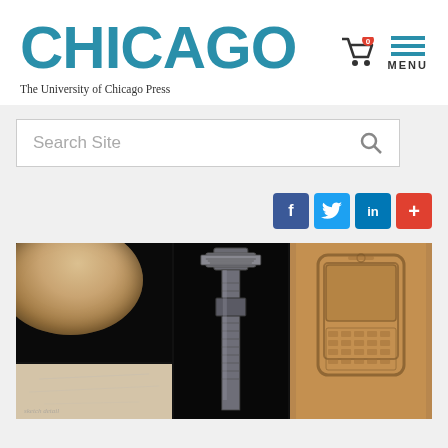CHICAGO
The University of Chicago Press
Search Site
[Figure (screenshot): Social sharing buttons: Facebook (f), Twitter bird, LinkedIn (in), and a red plus (+) button]
[Figure (photo): Composite image of three panels: left panel shows a ceramic bowl or container with sand/gravel texture on black background and a partial view below; center panel shows a metal pipe wrench/bolt on black background; right panel shows a stamped or embossed imprint of a mobile/BlackBerry phone on tan leather or sand surface]